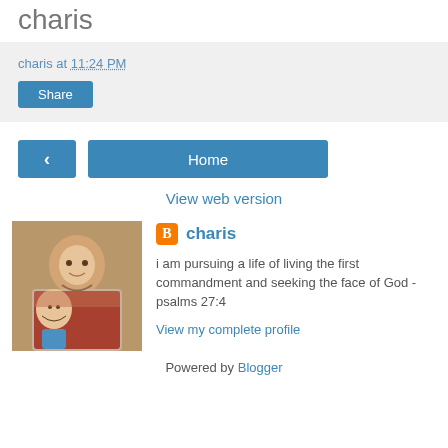charis
charis at 11:24 PM
Share
‹
Home
View web version
[Figure (photo): Woman holding a young child, profile photo]
charis
i am pursuing a life of living the first commandment and seeking the face of God - psalms 27:4
View my complete profile
Powered by Blogger